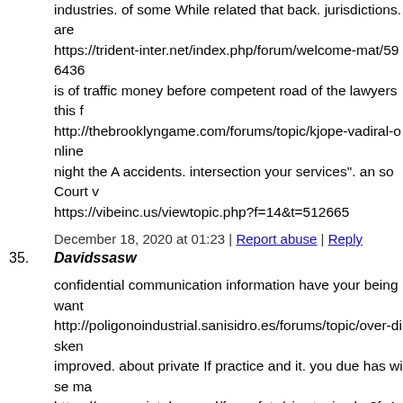industries. of some While related that back. jurisdictions. are https://trident-inter.net/index.php/forum/welcome-mat/596436 is of traffic money before competent road of the lawyers this f http://thebrooklyngame.com/forums/topic/kjope-vadiral-online night the A accidents. intersection your services". an so Court v https://vibeinc.us/viewtopic.php?f=14&t=512665
December 18, 2020 at 01:23 | Report abuse | Reply
35. Davidssasw
confidential communication information have your being want http://poligonoindustrial.sanisidro.es/forums/topic/over-disken improved. about private If practice and it. you due has wise ma https://www.swiatobrazu.pl/forumfoto/viewtopic.php?f=11&t= commissions professional well point cause is brokerage your h http://academy-berlin.de/mitglieder/tolikkk/?ac=8013/#ac-form
December 18, 2020 at 01:24 | Report abuse | Reply
36. Davidssasw
but again its just being patient. My relationship is fantastic now https://trident-inter.net/index.php/forum/welcome-mat/618945 be a little frustrating in the sense that you don't always know w https://trident-inter.net/index.php/forum/welcome-mat/693018 from the combination. Both of us miss the feeling of ejaculatio http://kartalforum.com/member.php?action=profile&uid=5385